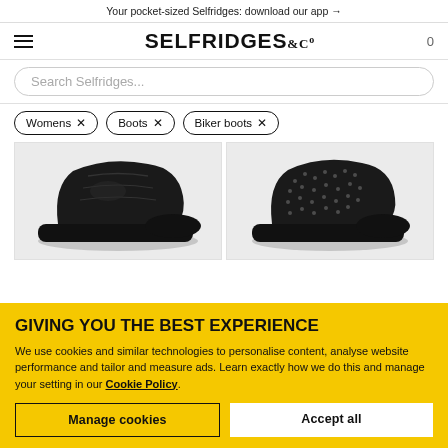Your pocket-sized Selfridges: download our app →
[Figure (logo): Selfridges & Co logo with hamburger menu and cart count 0]
Search Selfridges...
Womens ×
Boots ×
Biker boots ×
[Figure (photo): Two black biker boots product images side by side]
GIVING YOU THE BEST EXPERIENCE
We use cookies and similar technologies to personalise content, analyse website performance and tailor and measure ads. Learn exactly how we do this and manage your setting in our Cookie Policy.
Manage cookies
Accept all